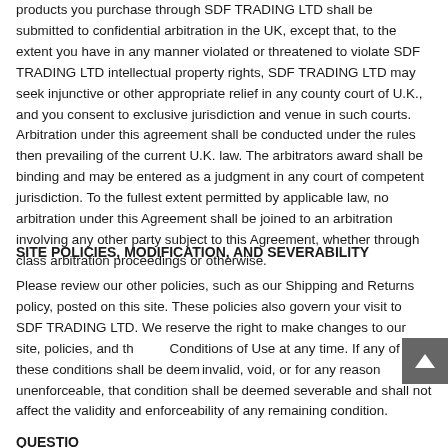products you purchase through SDF TRADING LTD shall be submitted to confidential arbitration in the UK, except that, to the extent you have in any manner violated or threatened to violate SDF TRADING LTD intellectual property rights, SDF TRADING LTD may seek injunctive or other appropriate relief in any county court of U.K., and you consent to exclusive jurisdiction and venue in such courts. Arbitration under this agreement shall be conducted under the rules then prevailing of the current U.K. law. The arbitrators award shall be binding and may be entered as a judgment in any court of competent jurisdiction. To the fullest extent permitted by applicable law, no arbitration under this Agreement shall be joined to an arbitration involving any other party subject to this Agreement, whether through class arbitration proceedings or otherwise.
SITE POLICIES, MODIFICATION, AND SEVERABILITY
Please review our other policies, such as our Shipping and Returns policy, posted on this site. These policies also govern your visit to SDF TRADING LTD. We reserve the right to make changes to our site, policies, and the Conditions of Use at any time. If any of these conditions shall be deemed invalid, void, or for any reason unenforceable, that condition shall be deemed severable and shall not affect the validity and enforceability of any remaining condition.
QUESTIONS